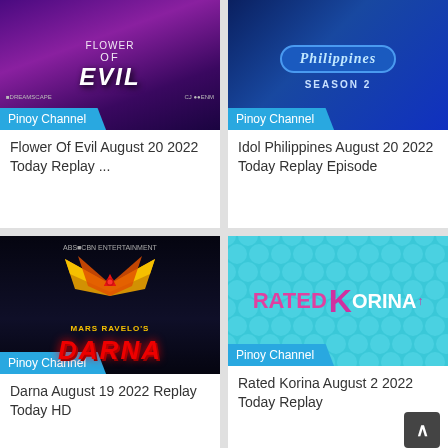[Figure (photo): Flower of Evil TV show poster with purple/dark background and stylized text 'FLOWER OF EVIL' with Dreamscape and CJ ENM logos]
Pinoy Channel
Flower Of Evil August 20 2022 Today Replay ...
[Figure (photo): Idol Philippines Season 2 logo on blue background with oval badge and 'SEASON 2' text]
Pinoy Channel
Idol Philippines August 20 2022 Today Replay Episode
[Figure (photo): Mars Ravelo's Darna logo on dark background with red winged emblem and yellow subtitle, ABS-CBN Entertainment branding]
Pinoy Channel
Darna August 19 2022 Replay Today HD
[Figure (photo): Rated Korina logo in pink and white text on teal/cyan dotted background]
Pinoy Channel
Rated Korina August 2 2022 Today Replay